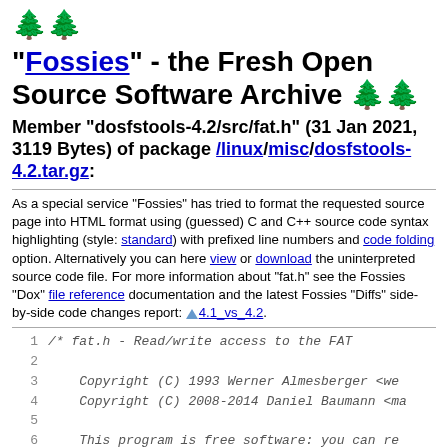"Fossies" - the Fresh Open Source Software Archive
Member "dosfstools-4.2/src/fat.h" (31 Jan 2021, 3119 Bytes) of package /linux/misc/dosfstools-4.2.tar.gz:
As a special service "Fossies" has tried to format the requested source page into HTML format using (guessed) C and C++ source code syntax highlighting (style: standard) with prefixed line numbers and code folding option. Alternatively you can here view or download the uninterpreted source code file. For more information about "fat.h" see the Fossies "Dox" file reference documentation and the latest Fossies "Diffs" side-by-side code changes report: 4.1_vs_4.2.
1  /* fat.h - Read/write access to the FAT
2
3      Copyright (C) 1993 Werner Almesberger <we...
4      Copyright (C) 2008-2014 Daniel Baumann <ma...
5
6      This program is free software: you can re...
7      it under the terms of the GNU General Pub...